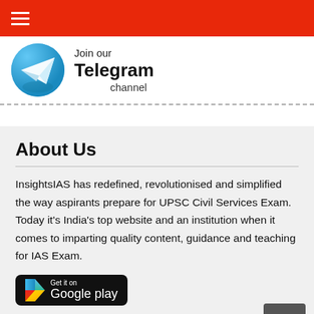[Figure (screenshot): Red navigation bar with hamburger menu icon (three white horizontal lines)]
[Figure (logo): Join our Telegram channel banner with Telegram logo icon (blue circle with paper plane)]
About Us
InsightsIAS has redefined, revolutionised and simplified the way aspirants prepare for UPSC Civil Services Exam. Today it's India's top website and an institution when it comes to imparting quality content, guidance and teaching for IAS Exam.
[Figure (logo): Get it on Google Play button]
Popular Courses